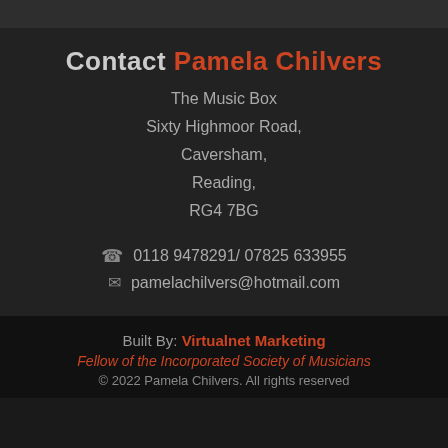Contact Pamela Chilvers
The Music Box
Sixty Highmoor Road,
Caversham,
Reading,
RG4 7BG
0118 9478291/ 07825 633955
pamelachilvers@hotmail.com
Built By: Virtualnet Marketing
Fellow of the Incorporated Society of Musicians
© 2022 Pamela Chilvers. All rights reserved